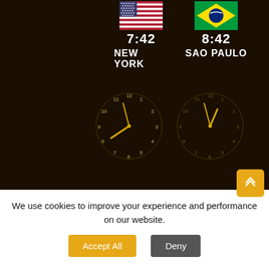[Figure (infographic): US flag with time 7:42 and city name NEW YORK]
[Figure (infographic): Brazil flag with time 8:42 and city name SAO PAULO]
[Figure (other): Analog clock showing approximately 7:42]
[Figure (other): Analog clock showing approximately 8:42]
[Figure (infographic): UK flag with time 12:42 and city name LONDON]
[Figure (infographic): UAE flag with time 15:42 and city name DUBAI]
[Figure (other): Analog clock showing approximately 12:42]
[Figure (other): Analog clock showing approximately 15:42]
[Figure (infographic): Thailand flag with time 18:42]
[Figure (infographic): China flag with time 19:42]
We use cookies to improve your experience and performance on our website. Accept All Deny